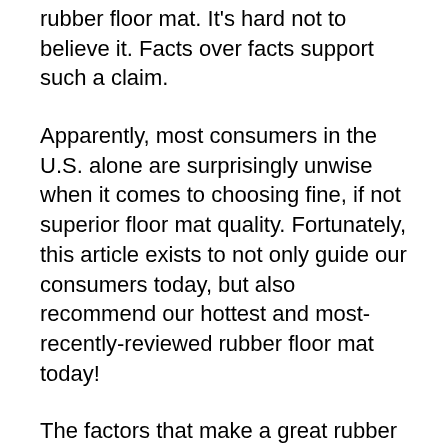rubber floor mat. It's hard not to believe it. Facts over facts support such a claim.
Apparently, most consumers in the U.S. alone are surprisingly unwise when it comes to choosing fine, if not superior floor mat quality. Fortunately, this article exists to not only guide our consumers today, but also recommend our hottest and most-recently-reviewed rubber floor mat today!
The factors that make a great rubber floor mat tend to be elusive. Most certainly, the rubber nature of the tool should not guarantee its durability. A lot of other factors in the back-drop are to be considered. Some of these include the formulation, design, shape, or the overall package of the item.